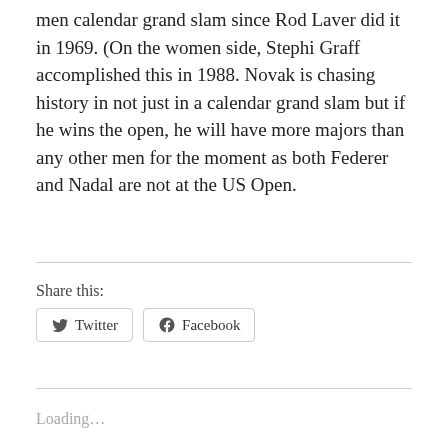men calendar grand slam since Rod Laver did it in 1969. (On the women side, Stephi Graff accomplished this in 1988. Novak is chasing history in not just in a calendar grand slam but if he wins the open, he will have more majors than any other men for the moment as both Federer and Nadal are not at the US Open.
Share this:
Twitter
Facebook
Loading...